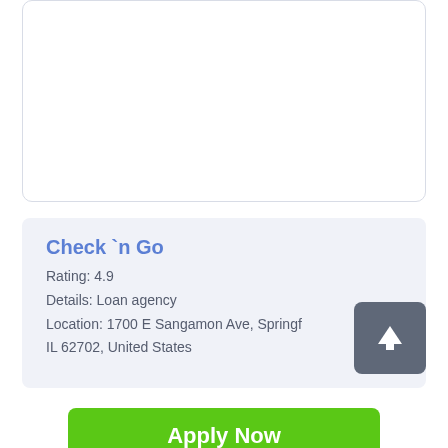[Figure (other): White rounded card panel (top portion, content hidden above fold)]
Check `n Go
Rating: 4.9
Details: Loan agency
Location: 1700 E Sangamon Ave, Springfield, IL 62702, United States
[Figure (other): Dark grey rounded scroll-to-top button with white upward arrow icon]
Apply Now
Applying does NOT affect your credit score!
No credit check to apply.